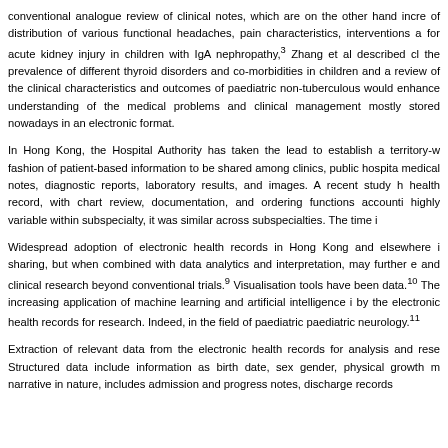conventional analogue review of clinical notes, which are on the other hand incre of distribution of various functional headaches, pain characteristics, interventions a for acute kidney injury in children with IgA nephropathy,3 Zhang et al described cl the prevalence of different thyroid disorders and co-morbidities in children and a review of the clinical characteristics and outcomes of paediatric non-tuberculous would enhance understanding of the medical problems and clinical management mostly stored nowadays in an electronic format.
In Hong Kong, the Hospital Authority has taken the lead to establish a territory-w fashion of patient-based information to be shared among clinics, public hospita medical notes, diagnostic reports, laboratory results, and images. A recent study h health record, with chart review, documentation, and ordering functions accounti highly variable within subspecialty, it was similar across subspecialties. The time i
Widespread adoption of electronic health records in Hong Kong and elsewhere i sharing, but when combined with data analytics and interpretation, may further e and clinical research beyond conventional trials.9 Visualisation tools have been data.10 The increasing application of machine learning and artificial intelligence i by the electronic health records for research. Indeed, in the field of paediatric paediatric neurology.11
Extraction of relevant data from the electronic health records for analysis and rese Structured data include information as birth date, sex gender, physical growth m narrative in nature, includes admission and progress notes, discharge records